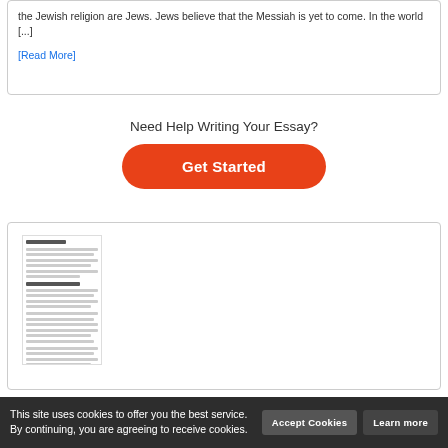the Jewish religion are Jews. Jews believe that the Messiah is yet to come. In the world [...]
[Read More]
Need Help Writing Your Essay?
Get Started
[Figure (screenshot): Thumbnail preview of a document/essay page with lines of text]
This site uses cookies to offer you the best service. By continuing, you are agreeing to receive cookies.
Accept Cookies
Learn more